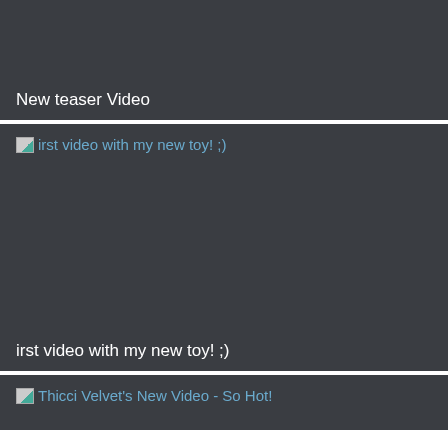[Figure (screenshot): Dark gray card with title 'New teaser Video' at the bottom left, representing a video thumbnail placeholder]
New teaser Video
[Figure (screenshot): Dark gray card with broken image icon and link text 'irst video with my new toy! ;)' at top, and same text as label at bottom]
irst video with my new toy! ;)
[Figure (screenshot): Partial dark gray card showing broken image and link text 'Thicci Velvet's New Video - So Hot!' at top]